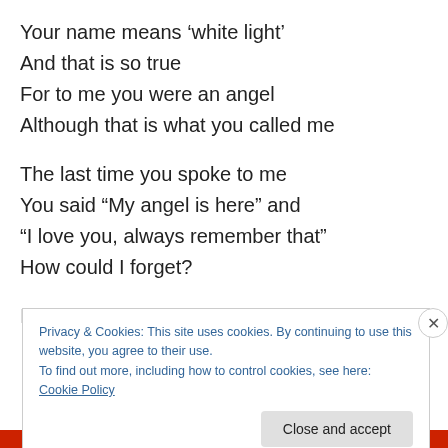Your name means ‘white light’
And that is so true
For to me you were an angel
Although that is what you called me
The last time you spoke to me
You said “My angel is here” and
“I love you, always remember that”
How could I forget?
I felt your great love
Privacy & Cookies: This site uses cookies. By continuing to use this website, you agree to their use.
To find out more, including how to control cookies, see here: Cookie Policy